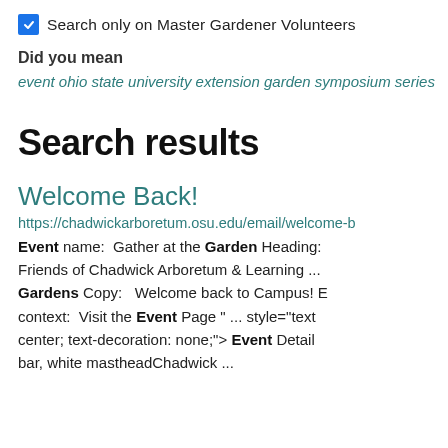Search only on Master Gardener Volunteers
Did you mean
event ohio state university extension garden symposium series
Search results
Welcome Back!
https://chadwickarboretum.osu.edu/email/welcome-b
Event name:  Gather at the Garden Heading:  Friends of Chadwick Arboretum & Learning ... Gardens Copy:   Welcome back to Campus! B context:  Visit the Event Page " ... style="text center; text-decoration: none;"> Event Detail bar, white mastheadChadwick ...